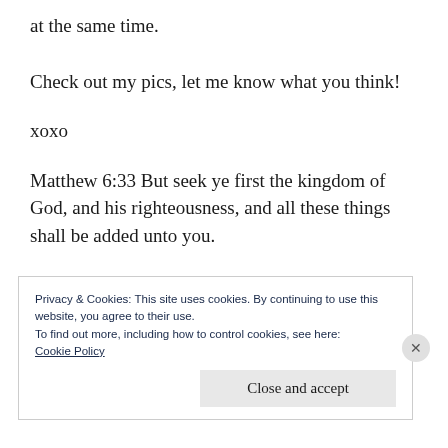at the same time.
Check out my pics, let me know what you think!
xoxo
Matthew 6:33 But seek ye first the kingdom of God, and his righteousness, and all these things shall be added unto you.
Privacy & Cookies: This site uses cookies. By continuing to use this website, you agree to their use.
To find out more, including how to control cookies, see here:
Cookie Policy

Close and accept